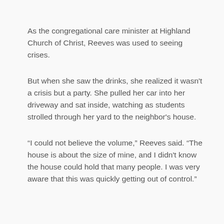As the congregational care minister at Highland Church of Christ, Reeves was used to seeing crises.
But when she saw the drinks, she realized it wasn't a crisis but a party. She pulled her car into her driveway and sat inside, watching as students strolled through her yard to the neighbor's house.
“I could not believe the volume,” Reeves said. “The house is about the size of mine, and I didn't know the house could hold that many people. I was very aware that this was quickly getting out of control.”